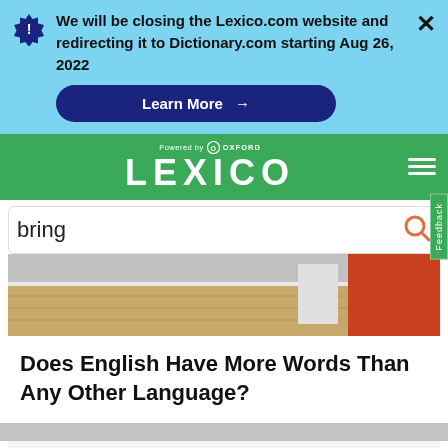We will be closing the Lexico.com website and redirecting it to Dictionary.com starting Aug 26, 2022
Learn More →
[Figure (logo): Lexico logo powered by Oxford on green header bar]
bring
[Figure (photo): Interior room photo showing wooden floor and orange/red wall elements]
Does English Have More Words Than Any Other Language?
[Figure (other): Valley Boiler advertisement banner - Boiler Service & Repair with Open button]